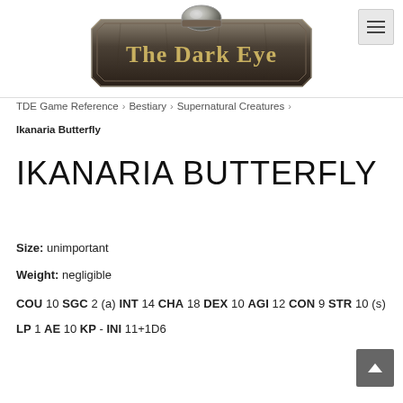[Figure (logo): The Dark Eye logo — ornate stone/metal plaque with the text 'The Dark Eye' in gold serif letters]
TDE Game Reference › Bestiary › Supernatural Creatures ›
Ikanaria Butterfly
IKANARIA BUTTERFLY
Size: unimportant
Weight: negligible
COU 10 SGC 2 (a) INT 14 CHA 18 DEX 10 AGI 12 CON 9 STR 10 (s)
LP 1 AE 10 KP - INI 11+1D6